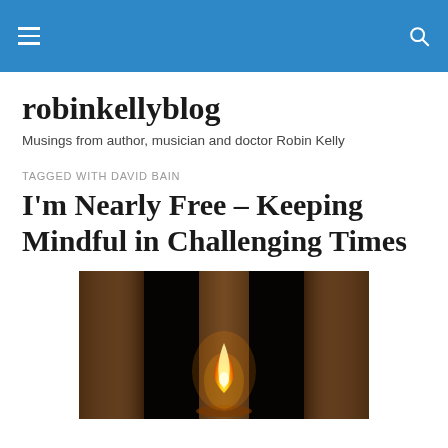robinkellyblog navigation header
robinkellyblog
Musings from author, musician and doctor Robin Kelly
TAGGED WITH DAVID BAIN
I'm Nearly Free – Keeping Mindful in Challenging Times
[Figure (photo): A lit candle flame visible through wooden bars or a slatted wooden frame, set against a dark background]